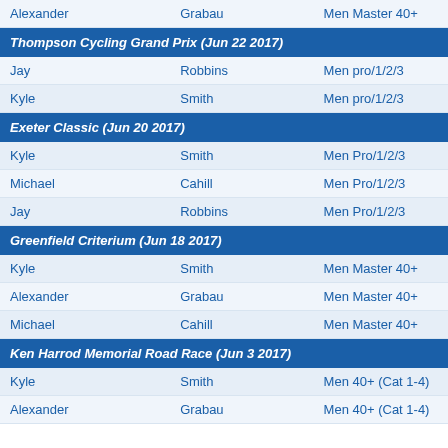| First | Last | Category |
| --- | --- | --- |
| Alexander | Grabau | Men Master 40+ |
| Thompson Cycling Grand Prix (Jun 22 2017) |  |  |
| Jay | Robbins | Men pro/1/2/3 |
| Kyle | Smith | Men pro/1/2/3 |
| Exeter Classic (Jun 20 2017) |  |  |
| Kyle | Smith | Men Pro/1/2/3 |
| Michael | Cahill | Men Pro/1/2/3 |
| Jay | Robbins | Men Pro/1/2/3 |
| Greenfield Criterium (Jun 18 2017) |  |  |
| Kyle | Smith | Men Master 40+ |
| Alexander | Grabau | Men Master 40+ |
| Michael | Cahill | Men Master 40+ |
| Ken Harrod Memorial Road Race (Jun 3 2017) |  |  |
| Kyle | Smith | Men 40+ (Cat 1-4) |
| Alexander | Grabau | Men 40+ (Cat 1-4) |